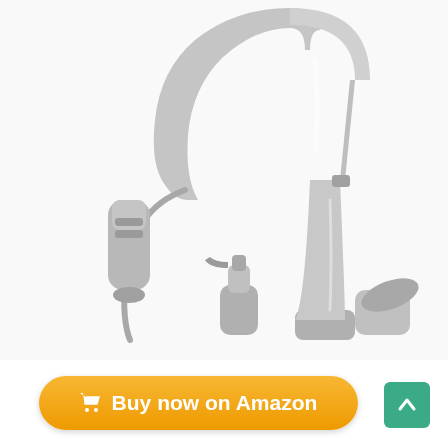[Figure (photo): A stainless steel kitchen faucet with pull-down spray head, shown with a separate soap dispenser. The faucet has a tall gooseneck design with a side handle lever. Finish is brushed nickel/stainless steel. White background.]
Buy now on Amazon
[Figure (infographic): Teal/green scroll-to-top button with upward chevron arrow, positioned bottom right]